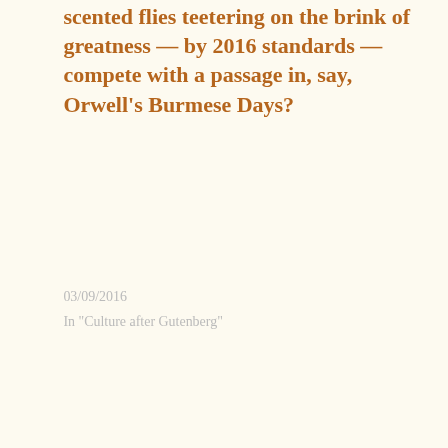scented flies teetering on the brink of greatness — by 2016 standards — compete with a passage in, say, Orwell's Burmese Days?
03/09/2016
In "Culture after Gutenberg"
← Writers, writing
Could a pope getting respect on atheist blogs →